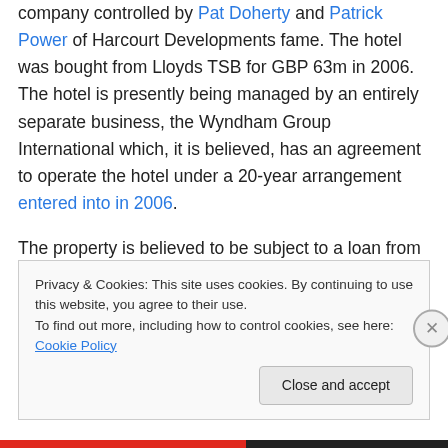company controlled by Pat Doherty and Patrick Power of Harcourt Developments fame. The hotel was bought from Lloyds TSB for GBP 63m in 2006. The hotel is presently being managed by an entirely separate business, the Wyndham Group International which, it is believed, has an agreement to operate the hotel under a 20-year arrangement entered into in 2006.
The property is believed to be subject to a loan from Anglo Irish Bank (now part of IBRC, and a NAMA Participating Institution). It is not confirmed that NAMA acquired the loan, but as it would appear to be associated lending...
Privacy & Cookies: This site uses cookies. By continuing to use this website, you agree to their use.
To find out more, including how to control cookies, see here: Cookie Policy